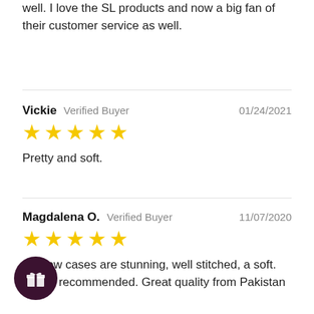well. I love the SL products and now a big fan of their customer service as well.
Vickie   Verified Buyer   01/24/2021
★★★★★
Pretty and soft.
Magdalena O.   Verified Buyer   11/07/2020
★★★★★
e pillow cases are stunning, well stitched, a soft. Highly recommended. Great quality from Pakistan